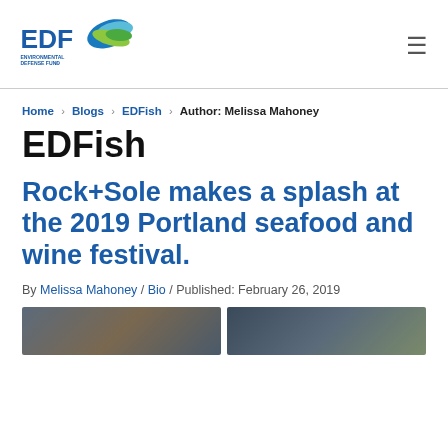[Figure (logo): EDF Environmental Defense Fund logo with blue and green swoosh/leaf design]
Home › Blogs › EDFish › Author: Melissa Mahoney
EDFish
Rock+Sole makes a splash at the 2019 Portland seafood and wine festival.
By Melissa Mahoney / Bio / Published: February 26, 2019
[Figure (photo): Two partial photos at bottom of page showing seafood festival scenes]